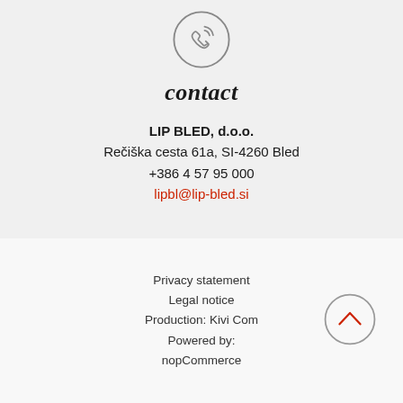[Figure (illustration): Phone/call icon inside a circle, outline style]
contact
LIP BLED, d.o.o.
Rečiška cesta 61a, SI-4260 Bled
+386 4 57 95 000
lipbl@lip-bled.si
Privacy statement
Legal notice
Production: Kivi Com
Powered by:
nopCommerce
[Figure (illustration): Scroll-to-top button: circle with upward chevron arrow]